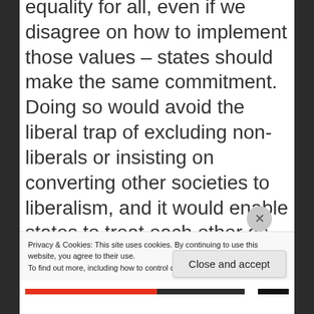equality for all, even if we disagree on how to implement those values – states should make the same commitment. Doing so would avoid the liberal trap of excluding non-liberals or insisting on converting other societies to liberalism, and it would enable states to treat each other as free equals in a democratic process that establishes the rules for world order. Pluralism thus makes possible left internationalism. Resolution of the enti...
Privacy & Cookies: This site uses cookies. By continuing to use this website, you agree to their use.
To find out more, including how to control cookies, see here: Cookie Policy